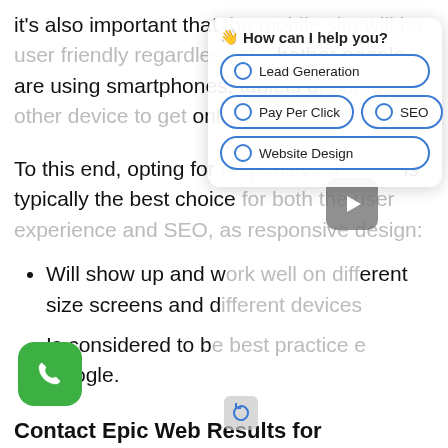it's also important that the mobile site will be user friendly regardless of whether people are using smartphones, tablets or some other device to get online.
To this end, opting for responsive design is typically the best choice for both the user experience and SEO, as responsive design:
Will show up and work well on different size screens and different devices
Is considered to be best practice by Google.
[Figure (screenshot): Chatbot widget overlay with heading 'How can I help you?' and radio button options: Lead Generation, Pay Per Click, SEO, Website Design]
[Figure (other): Video play button overlay (rounded square grey button with triangle play icon)]
[Figure (other): Green phone call button (rounded square with phone icon)]
Contact Epic Web Results for